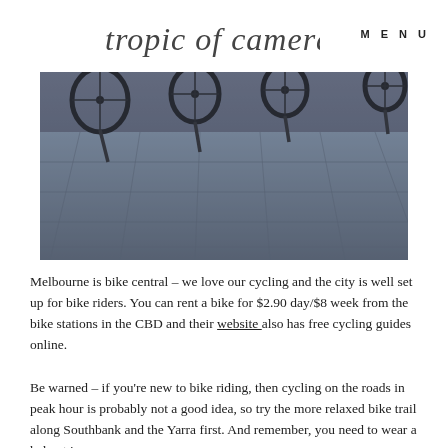tropic of camera  MENU
[Figure (photo): Bicycles parked at a bike station, showing bike wheels and a blue-toned paved ground/courtyard below]
Melbourne is bike central – we love our cycling and the city is well set up for bike riders. You can rent a bike for $2.90 day/$8 week from the bike stations in the CBD and their website also has free cycling guides online.
Be warned – if you're new to bike riding, then cycling on the roads in peak hour is probably not a good idea, so try the more relaxed bike trail along Southbank and the Yarra first. And remember, you need to wear a helmet in